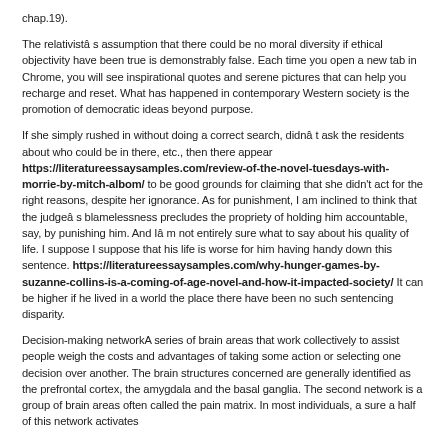chap.19).
The relativistâ s assumption that there could be no moral diversity if ethical objectivity have been true is demonstrably false. Each time you open a new tab in Chrome, you will see inspirational quotes and serene pictures that can help you recharge and reset. What has happened in contemporary Western society is the promotion of democratic ideas beyond purpose.
If she simply rushed in without doing a correct search, didnâ t ask the residents about who could be in there, etc., then there appear https://literatureessaysamples.com/review-of-the-novel-tuesdays-with-morrie-by-mitch-albom/ to be good grounds for claiming that she didn't act for the right reasons, despite her ignorance. As for punishment, I am inclined to think that the judgeâ s blamelessness precludes the propriety of holding him accountable, say, by punishing him. And Iâ m not entirely sure what to say about his quality of life. I suppose I suppose that his life is worse for him having handy down this sentence. https://literatureessaysamples.com/why-hunger-games-by-suzanne-collins-is-a-coming-of-age-novel-and-how-it-impacted-society/ It can be higher if he lived in a world the place there have been no such sentencing disparity.
Decision-making networkA series of brain areas that work collectively to assist people weigh the costs and advantages of taking some action or selecting one decision over another. The brain structures concerned are generally identified as the prefrontal cortex, the amygdala and the basal ganglia. The second network is a group of brain areas often called the pain matrix. In most individuals, a sure a half of this network activates